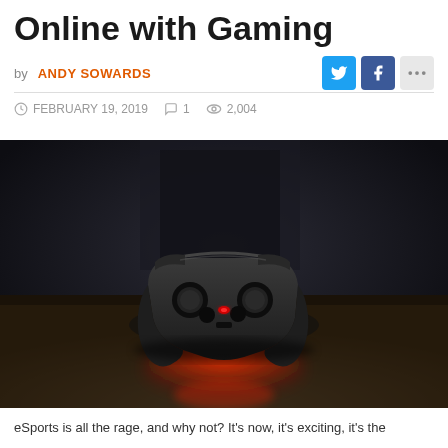Online with Gaming
by ANDY SOWARDS
FEBRUARY 19, 2019  1  2,004
[Figure (photo): A gaming controller (gamepad) placed on a wooden surface in a dark room, with a glowing red LED light underneath casting a red glow on the floor. The controller is a black PlayStation-style dual analog controller.]
eSports is all the rage, and why not? It's now, it's exciting, it's the